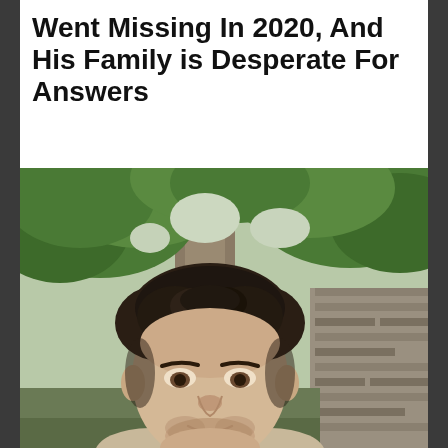Went Missing In 2020, And His Family is Desperate For Answers
[Figure (photo): Outdoor selfie photo of a young man with short dark curly hair and light stubble beard, taken from a low angle against a background of large green trees and a stone wall structure. The man is centered in the frame looking down at the camera.]